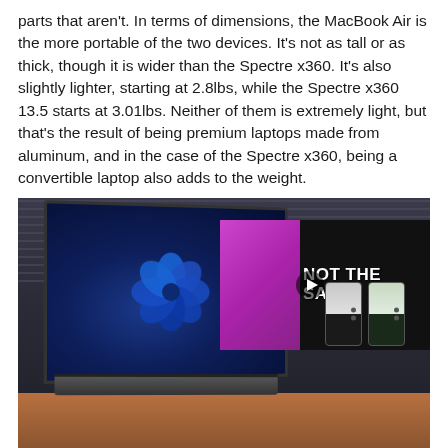parts that aren't. In terms of dimensions, the MacBook Air is the more portable of the two devices. It's not as tall or as thick, though it is wider than the Spectre x360. It's also slightly lighter, starting at 2.8lbs, while the Spectre x360 13.5 starts at 3.01lbs. Neither of them is extremely light, but that's the result of being premium laptops made from aluminum, and in the case of the Spectre x360, being a convertible laptop also adds to the weight.
[Figure (photo): Photo of an HP Spectre x360 laptop in tent/tablet mode on a wooden desk, with a video overlay showing 'NOT THE SAME' text and two smartphones side by side, with a play button. The laptop has a Windows 11 wallpaper on its screen. Background shows windows with blinds.]